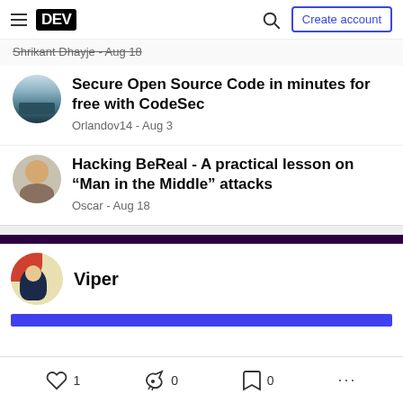DEV | Create account
Shrikant Dhayje - Aug 18
Secure Open Source Code in minutes for free with CodeSec
Orlandov14 - Aug 3
Hacking BeReal - A practical lesson on “Man in the Middle” attacks
Oscar - Aug 18
Viper
1  0  0  ...